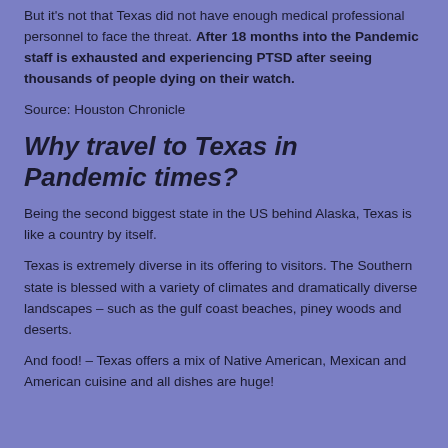But it's not that Texas did not have enough medical professional personnel to face the threat. After 18 months into the Pandemic staff is exhausted and experiencing PTSD after seeing thousands of people dying on their watch.
Source: Houston Chronicle
Why travel to Texas in Pandemic times?
Being the second biggest state in the US behind Alaska, Texas is like a country by itself.
Texas is extremely diverse in its offering to visitors. The Southern state is blessed with a variety of climates and dramatically diverse landscapes – such as the gulf coast beaches, piney woods and deserts.
And food! – Texas offers a mix of Native American, Mexican and American cuisine and all dishes are huge!